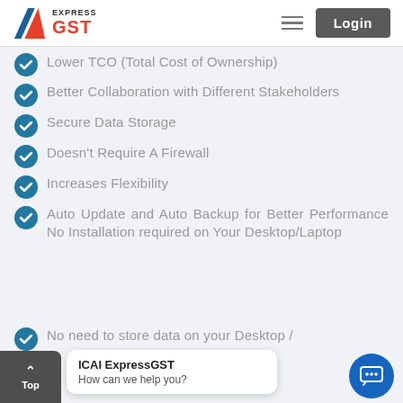EXPRESS GST — Login
Lower TCO (Total Cost of Ownership)
Better Collaboration with Different Stakeholders
Secure Data Storage
Doesn't Require A Firewall
Increases Flexibility
Auto Update and Auto Backup for Better Performance No Installation required on Your Desktop/Laptop
No need to store data on your Desktop /…
ICAI ExpressGST
How can we help you?